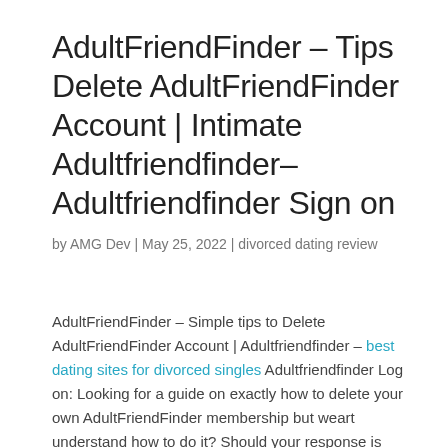AdultFriendFinder – Tips Delete AdultFriendFinder Account | Intimate Adultfriendfinder– Adultfriendfinder Sign on
by AMG Dev | May 25, 2022 | divorced dating review
AdultFriendFinder – Simple tips to Delete AdultFriendFinder Account | Adultfriendfinder – best dating sites for divorced singles Adultfriendfinder Log on: Looking for a guide on exactly how to delete your own AdultFriendFinder membership but weart understand how to do it? Should your response is